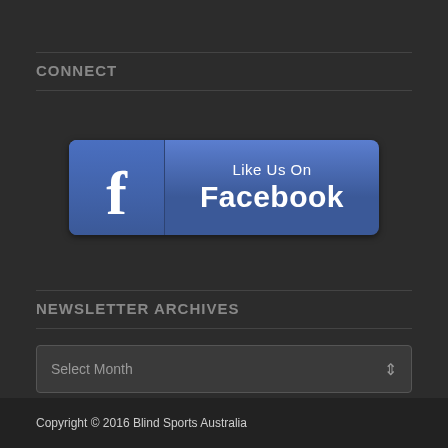CONNECT
[Figure (logo): Like Us On Facebook button with Facebook logo icon on the left and text 'Like Us On Facebook' on the right, blue gradient background with rounded corners]
NEWSLETTER ARCHIVES
Select Month
Copyright © 2016 Blind Sports Australia